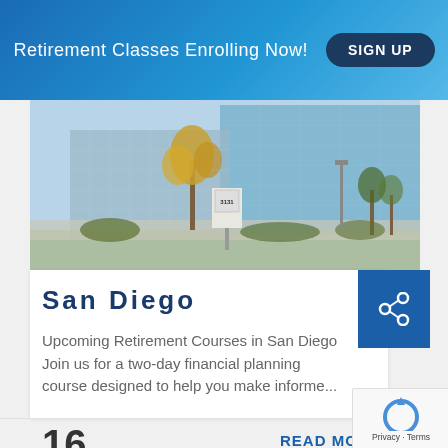Retirement Classes Enrolling Now!  SIGN UP
[Figure (photo): Exterior photo of a modern glass office building (3131) with trees and landscaping in the foreground, blue sky background]
San Diego
Upcoming Retirement Courses in San Diego Join us for a two-day financial planning course designed to help you make informe...
16 OCT 2018
READ MO